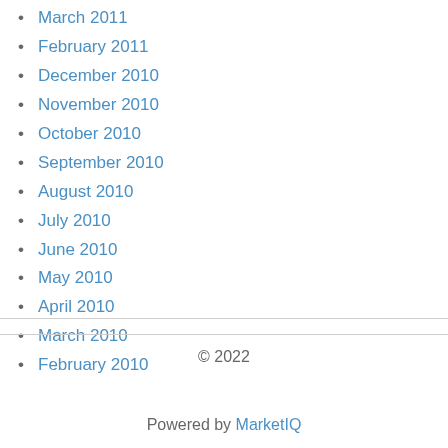March 2011
February 2011
December 2010
November 2010
October 2010
September 2010
August 2010
July 2010
June 2010
May 2010
April 2010
March 2010
February 2010
© 2022
Powered by MarketIQ